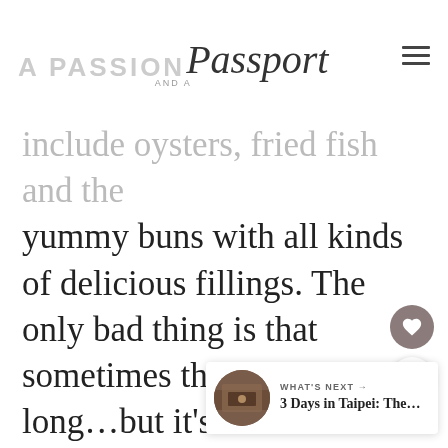A PASSION AND A Passport
include oysters, fried fish and the yummy buns with all kinds of delicious fillings. The only bad thing is that sometimes the lines are too long...but it’s so worth it.
[Figure (other): Like (heart) button, circular brown/mauve background]
[Figure (other): Share button, circular white background with share icon]
[Figure (other): What's Next card with thumbnail image of a bar/restaurant and text '3 Days in Taipei: The...']